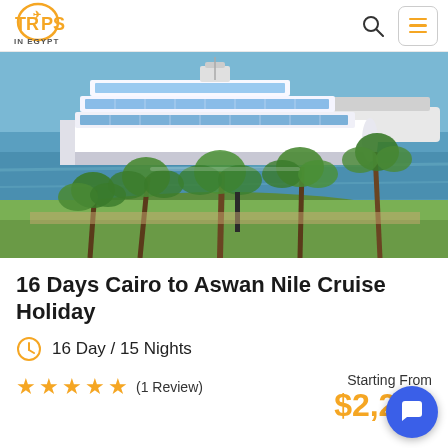Trips in Egypt
[Figure (photo): A large white multi-deck Nile cruise ship on the Nile river with palm trees and green vegetation in the foreground, blue water background]
16 Days Cairo to Aswan Nile Cruise Holiday
16 Day / 15 Nights
★★★★★ (1 Review)
Starting From $2,250